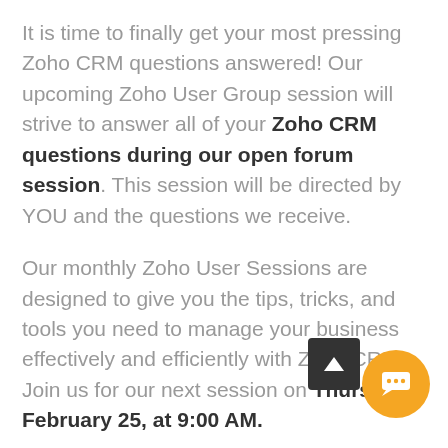It is time to finally get your most pressing Zoho CRM questions answered! Our upcoming Zoho User Group session will strive to answer all of your Zoho CRM questions during our open forum session. This session will be directed by YOU and the questions we receive.
Our monthly Zoho User Sessions are designed to give you the tips, tricks, and tools you need to manage your business effectively and efficiently with Zoho CRM. Join us for our next session on Thursday, February 25, at 9:00 AM.
Have a question regarding your CRM? We will be taking question requests through February 22 and address them all LIVE during the webinar.